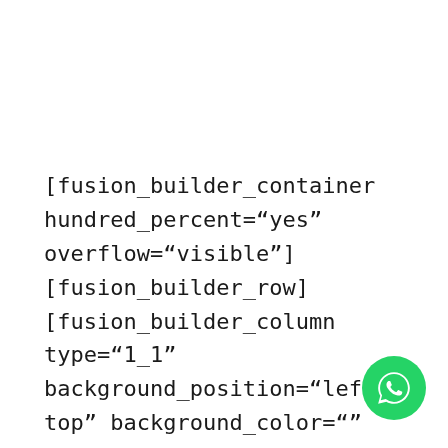[fusion_builder_container hundred_percent="yes" overflow="visible"] [fusion_builder_row][fusion_builder_column type="1_1" background_position="left top" background_color="" border_size="" border_color="" border_style="solid" spacing="yes" background_image="" background_repeat="no-repeat" padding="" margin_top="0px" margin_bottom="0px" c id="" animation_type="" animation_speed="0.3"
[Figure (illustration): WhatsApp contact button — green circle with white WhatsApp phone handset logo]